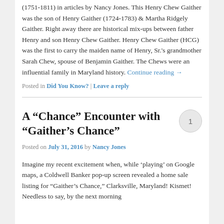(1751-1811) in articles by Nancy Jones. This Henry Chew Gaither was the son of Henry Gaither (1724-1783) & Martha Ridgely Gaither. Right away there are historical mix-ups between father Henry and son Henry Chew Gaither. Henry Chew Gaither (HCG) was the first to carry the maiden name of Henry, Sr.'s grandmother Sarah Chew, spouse of Benjamin Gaither. The Chews were an influential family in Maryland history. Continue reading →
Posted in Did You Know? | Leave a reply
A “Chance” Encounter with “Gaither’s Chance”
Posted on July 31, 2016 by Nancy Jones
Imagine my recent excitement when, while ‘playing’ on Google maps, a Coldwell Banker pop-up screen revealed a home sale listing for “Gaither’s Chance,” Clarksville, Maryland! Kismet! Needless to say, by the next morning